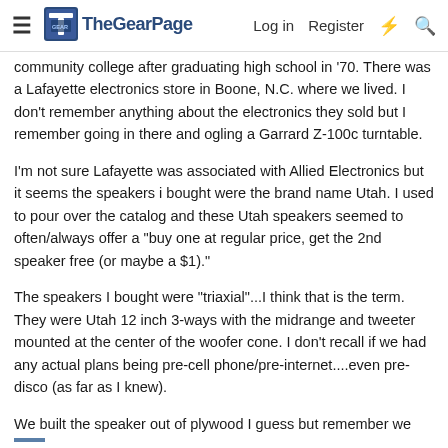The Gear Page — Log in  Register
community college after graduating high school in '70. There was a Lafayette electronics store in Boone, N.C. where we lived. I don't remember anything about the electronics they sold but I remember going in there and ogling a Garrard Z-100c turntable.
I'm not sure Lafayette was associated with Allied Electronics but it seems the speakers i bought were the brand name Utah. I used to pour over the catalog and these Utah speakers seemed to often/always offer a "buy one at regular price, get the 2nd speaker free (or maybe a $1)."
The speakers I bought were "triaxial"...I think that is the term. They were Utah 12 inch 3-ways with the midrange and tweeter mounted at the center of the woofer cone. I don't recall if we had any actual plans being pre-cell phone/pre-internet....even pre-disco (as far as I knew).
We built the speaker out of plywood I guess but remember we used a hand saw to cut the lumber! Let's just say the tolerances were pretty large but I was proud of them and had one of the better